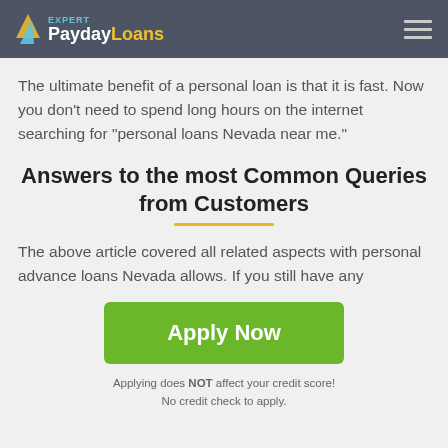Expert PaydayLoans
The ultimate benefit of a personal loan is that it is fast. Now you don’t need to spend long hours on the internet searching for “personal loans Nevada near me.”
Answers to the most Common Queries from Customers
The above article covered all related aspects with personal advance loans Nevada allows. If you still have any
Apply Now
Applying does NOT affect your credit score!
No credit check to apply.